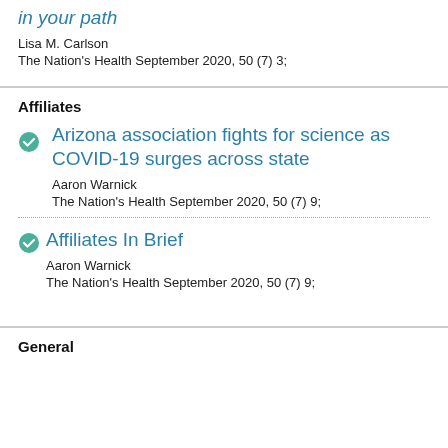in your path
Lisa M. Carlson
The Nation's Health September 2020, 50 (7) 3;
Affiliates
Arizona association fights for science as COVID-19 surges across state
Aaron Warnick
The Nation's Health September 2020, 50 (7) 9;
Affiliates In Brief
Aaron Warnick
The Nation's Health September 2020, 50 (7) 9;
General